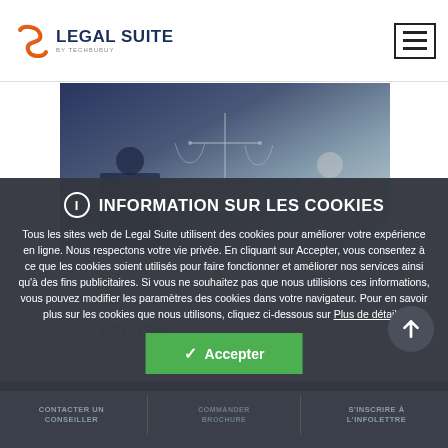LEGAL SUITE
[Figure (photo): Photo of legal professionals with scales of justice in background]
INFORMATION SUR LES COOKIES
Tous les sites web de Legal Suite utilisent des cookies pour améliorer votre expérience en ligne. Nous respectons votre vie privée. En cliquant sur Accepter, vous consentez à ce que les cookies soient utilisés pour faire fonctionner et améliorer nos services ainsi qu'à des fins publicitaires. Si vous ne souhaitez pas que nous utilisions ces informations, vous pouvez modifier les paramètres des cookies dans votre navigateur. Pour en savoir plus sur les cookies que nous utilisons, cliquez ci-dessous sur Plus de détails.
CONTACTER UN CONSEILLER   COMMANDER BROCHURE   S'INSCRIRE À L'INFOLETTRE